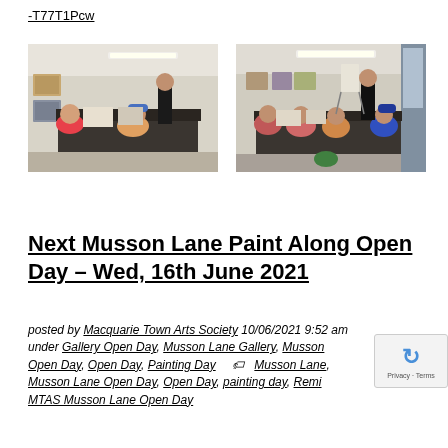-T77T1Pcw
[Figure (photo): Left photo: People sitting around a table in an art studio/gallery, painting. Artworks visible on walls.]
[Figure (photo): Right photo: People sitting around a table in an art studio/gallery with an instructor standing, painting session.]
Next Musson Lane Paint Along Open Day – Wed, 16th June 2021
posted by Macquarie Town Arts Society 10/06/2021 9:52 am under Gallery Open Day, Musson Lane Gallery, Musson Open Day, Open Day, Painting Day   Musson Lane, Musson Lane Open Day, Open Day, painting day, Remi MTAS Musson Lane Open Day